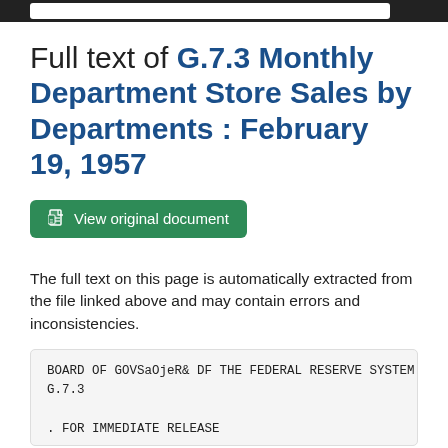Full text of G.7.3 Monthly Department Store Sales by Departments : February 19, 1957
View original document
The full text on this page is automatically extracted from the file linked above and may contain errors and inconsistencies.
BOARD OF GOVSaOjeR& DF THE FEDERAL RESERVE SYSTEM
G.7.3

. FOR IMMEDIATE RELEASE